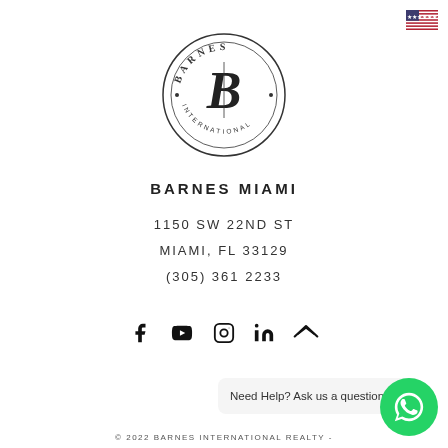[Figure (logo): Barnes International circular logo with 'B' monogram, text BARNES arched at top and INTERNATIONAL arched at bottom]
BARNES MIAMI
1150 SW 22ND ST
MIAMI, FL 33129
(305) 361 2233
[Figure (infographic): Social media icons row: Facebook, YouTube, Instagram, LinkedIn, Zillow]
Need Help? Ask us a question
© 2022 BARNES INTERNATIONAL REALTY -